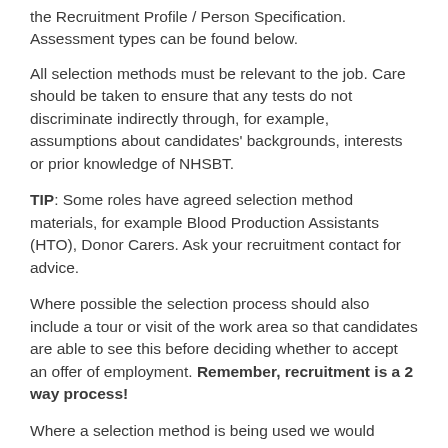the Recruitment Profile / Person Specification. Assessment types can be found below.
All selection methods must be relevant to the job. Care should be taken to ensure that any tests do not discriminate indirectly through, for example, assumptions about candidates' backgrounds, interests or prior knowledge of NHSBT.
TIP: Some roles have agreed selection method materials, for example Blood Production Assistants (HTO), Donor Carers. Ask your recruitment contact for advice.
Where possible the selection process should also include a tour or visit of the work area so that candidates are able to see this before deciding whether to accept an offer of employment. Remember, recruitment is a 2 way process!
Where a selection method is being used we would